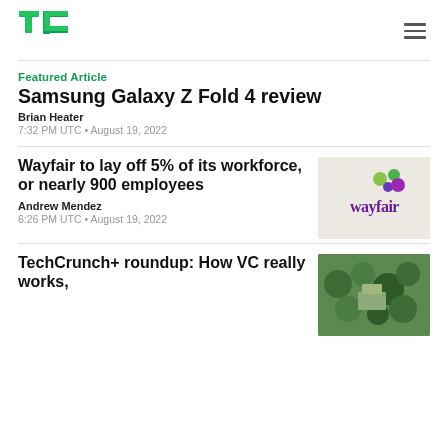[Figure (logo): TechCrunch TC green logo]
Featured Article
Samsung Galaxy Z Fold 4 review
Brian Heater
7:32 PM UTC • August 19, 2022
Wayfair to lay off 5% of its workforce, or nearly 900 employees
[Figure (logo): Wayfair logo on light gray background]
Andrew Mendez
6:26 PM UTC • August 19, 2022
TechCrunch+ roundup: How VC really works,
[Figure (photo): Aerial photo of trees and building]